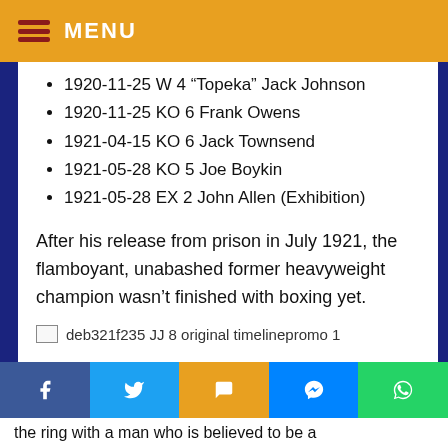MENU
1920-11-25 W 4 “Topeka” Jack Johnson
1920-11-25 KO 6 Frank Owens
1921-04-15 KO 6 Jack Townsend
1921-05-28 KO 5 Joe Boykin
1921-05-28 EX 2 John Allen (Exhibition)
After his release from prison in July 1921, the flamboyant, unabashed former heavyweight champion wasn’t finished with boxing yet.
[Figure (photo): Broken image placeholder labeled: deb321f235 JJ 8 original timelinepromo 1]
the ring with a man who is believed to be a